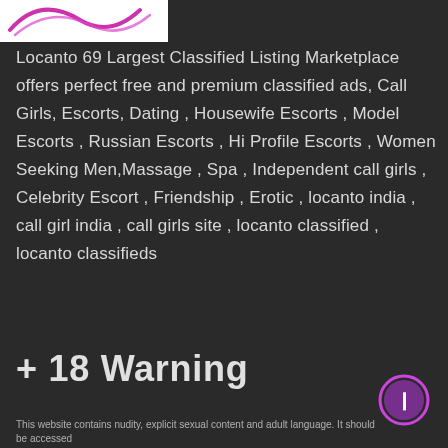[Figure (logo): Locanto logo with pink/magenta swoosh design on white background]
Locanto 69 Largest Classified Listing Marketplace offers perfect free and premium classified ads, Call Girls, Escorts, Dating , Housewife Escorts , Model Escorts , Russian Escorts , Hi Profile Escorts , Women Seeking Men,Massage , Spa , Independent call girls , Celebrity Escort , Friendship , Erotic , locanto india , call girl india , call girls site , locanto classified , locanto classifieds
+ 18 Warning
This website contains nudity, explicit sexual content and adult language. It should be accessed